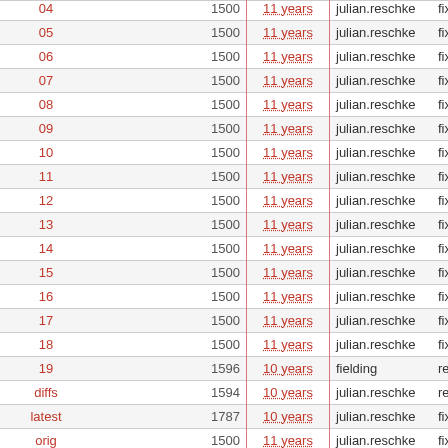| Name |  | Size | Age | Author | Message |
| --- | --- | --- | --- | --- | --- |
| 04 |  | 1500 | 11 years | julian.reschke | fix mime ty |
| 05 |  | 1500 | 11 years | julian.reschke | fix mime ty |
| 06 |  | 1500 | 11 years | julian.reschke | fix mime ty |
| 07 |  | 1500 | 11 years | julian.reschke | fix mime ty |
| 08 |  | 1500 | 11 years | julian.reschke | fix mime ty |
| 09 |  | 1500 | 11 years | julian.reschke | fix mime ty |
| 10 |  | 1500 | 11 years | julian.reschke | fix mime ty |
| 11 |  | 1500 | 11 years | julian.reschke | fix mime ty |
| 12 |  | 1500 | 11 years | julian.reschke | fix mime ty |
| 13 |  | 1500 | 11 years | julian.reschke | fix mime ty |
| 14 |  | 1500 | 11 years | julian.reschke | fix mime ty |
| 15 |  | 1500 | 11 years | julian.reschke | fix mime ty |
| 16 |  | 1500 | 11 years | julian.reschke | fix mime ty |
| 17 |  | 1500 | 11 years | julian.reschke | fix mime ty |
| 18 |  | 1500 | 11 years | julian.reschke | fix mime ty |
| 19 |  | 1596 | 10 years | fielding | remove ex |
| diffs |  | 1594 | 10 years | julian.reschke | regen -19 |
| latest |  | 1787 | 10 years | julian.reschke | fix typos |
| orig |  | 1500 | 11 years | julian.reschke | fix mime ty |
| myxml2rfc.xslt | xxx bytes | 7 | 15 years | fielding | Wiere |